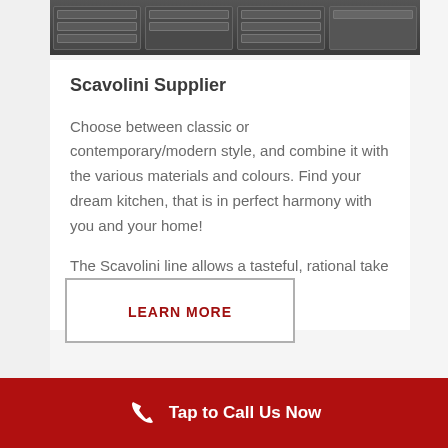[Figure (photo): Top portion of a dark grey kitchen cabinet/furniture unit showing drawer fronts, cropped at top of page]
Scavolini Supplier
Choose between classic or contemporary/modern style, and combine it with the various materials and colours. Find your dream kitchen, that is in perfect harmony with you and your home!
The Scavolini line allows a tasteful, rational take on all spaces.
LEARN MORE
Tap to Call Us Now